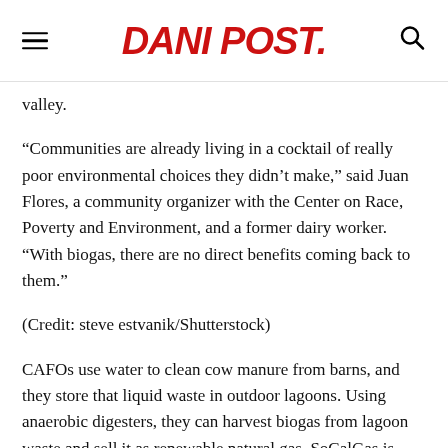DANI POST.
valley.
“Communities are already living in a cocktail of really poor environmental choices they didn’t make,” said Juan Flores, a community organizer with the Center on Race, Poverty and Environment, and a former dairy worker.  “With biogas, there are no direct benefits coming back to them.”
(Credit: steve estvanik/Shutterstock)
CAFOs use water to clean cow manure from barns, and they store that liquid waste in outdoor lagoons. Using anaerobic digesters, they can harvest biogas from lagoon waste and sell it as renewable natural gas. SoCalGas is purchasing gas from more than 40 percent of the Valley’s digesters, which are typically operated by companies such as Calgren